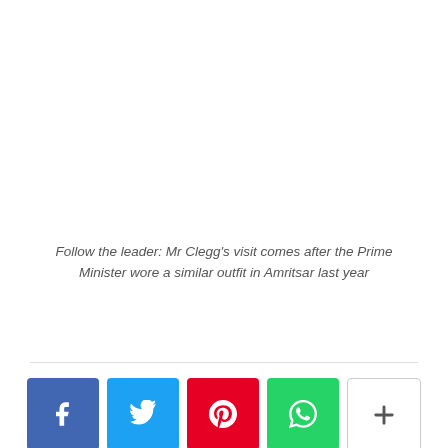Follow the leader: Mr Clegg's visit comes after the Prime Minister wore a similar outfit in Amritsar last year
[Figure (other): Social sharing buttons: Facebook (blue), Twitter (light blue), Pinterest (red), WhatsApp (green), More/Plus (white with border)]